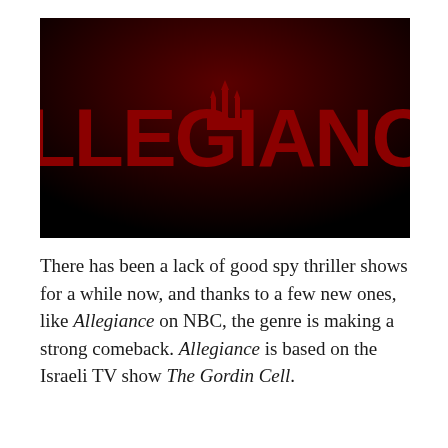[Figure (logo): ALLEGIANCE TV show logo — large bold red letters on a black-to-dark-red gradient background, with a red silhouette of a Russian cathedral/Kremlin replacing the 'A' in the middle of the word.]
There has been a lack of good spy thriller shows for a while now, and thanks to a few new ones, like Allegiance on NBC, the genre is making a strong comeback. Allegiance is based on the Israeli TV show The Gordin Cell.